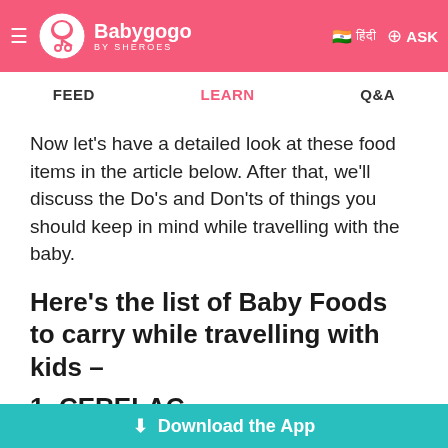Babygogo BY SHEROES — FEED | LEARN | Q&A
Now let's have a detailed look at these food items in the article below. After that, we'll discuss the Do's and Don'ts of things you should keep in mind while travelling with the baby.
Here's the list of Baby Foods to carry while travelling with kids – 1. CERELAC
This may be packaged or Homemade Cerelac. Cerelac of any kind is healthy, yummy and
⬇ Download the App